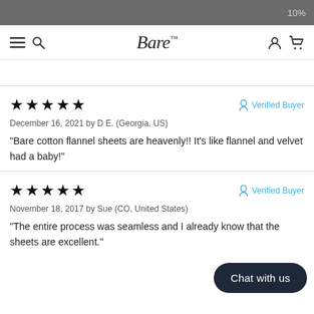10%
[Figure (logo): Bare brand logo with navigation icons (hamburger menu, search, user, cart)]
December 16, 2021 by D E. (Georgia, US)
“Bare cotton flannel sheets are heavenly!! It’s like flannel and velvet had a baby!”
November 18, 2017 by Sue (CO, United States)
“The entire process was seamless and I already know that the sheets are excellent.”